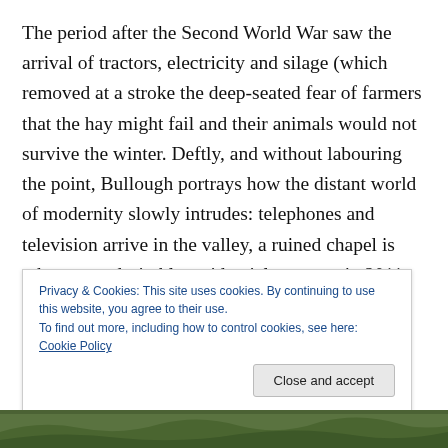The period after the Second World War saw the arrival of tractors, electricity and silage (which removed at a stroke the deep-seated fear of farmers that the hay might fail and their animals would not survive the winter. Deftly, and without labouring the point, Bullough portrays how the distant world of modernity slowly intrudes: telephones and television arrive in the valley, a ruined chapel is reborn as a desirable residential property in 2011; on the farm, plastic-wrapped silage bales replace haymaking; monstrous machines do the work of men who laboured [continues]
Privacy & Cookies: This site uses cookies. By continuing to use this website, you agree to their use.
To find out more, including how to control cookies, see here: Cookie Policy
[Figure (photo): Partial landscape photo showing green hills, visible at the bottom of the page]